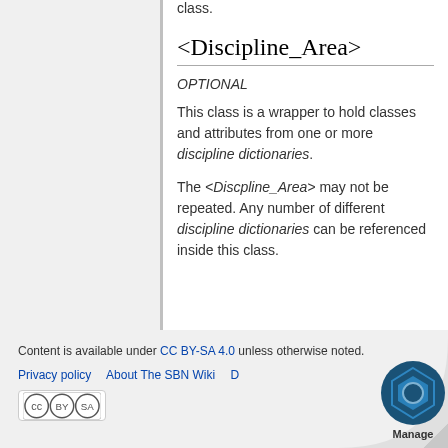class.
<Discipline_Area>
OPTIONAL
This class is a wrapper to hold classes and attributes from one or more discipline dictionaries.
The <Discpline_Area> may not be repeated. Any number of different discipline dictionaries can be referenced inside this class.
Content is available under CC BY-SA 4.0 unless otherwise noted.
Privacy policy   About The SBN Wiki